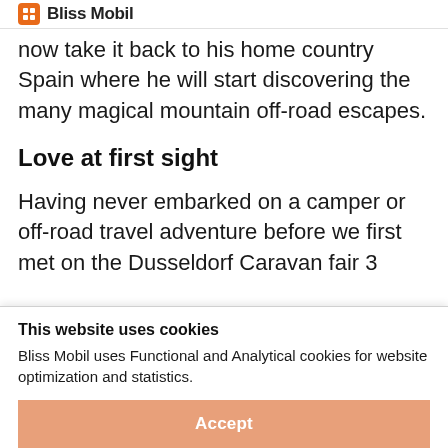Bliss Mobil
now take it back to his home country Spain where he will start discovering the many magical mountain off-road escapes.
Love at first sight
Having never embarked on a camper or off-road travel adventure before we first met on the Dusseldorf Caravan fair 3
This website uses cookies
Bliss Mobil uses Functional and Analytical cookies for website optimization and statistics.
Accept